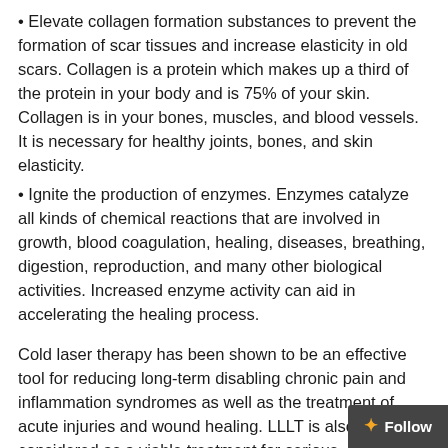Elevate collagen formation substances to prevent the formation of scar tissues and increase elasticity in old scars. Collagen is a protein which makes up a third of the protein in your body and is 75% of your skin. Collagen is in your bones, muscles, and blood vessels. It is necessary for healthy joints, bones, and skin elasticity.
Ignite the production of enzymes. Enzymes catalyze all kinds of chemical reactions that are involved in growth, blood coagulation, healing, diseases, breathing, digestion, reproduction, and many other biological activities. Increased enzyme activity can aid in accelerating the healing process.
Cold laser therapy has been shown to be an effective tool for reducing long-term disabling chronic pain and inflammation syndromes as well as the treatment of acute injuries and wound healing. LLLT is also being considered as a viable treatment for serious neurological conditions such as traumatic brain injury (TBI) including concussion, stroke, spinal cord injury, and degenerative central nervous s